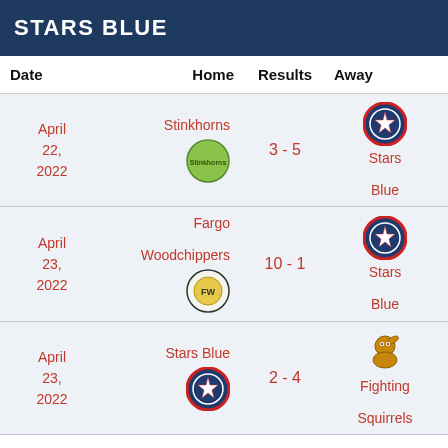STARS BLUE
| Date | Home | Results | Away | Time | Venue |
| --- | --- | --- | --- | --- | --- |
| April 22, 2022 | Stinkhorns | 3 - 5 | Stars Blue | 6:15 pm | Liberty First Credit Union Arena |
| April 23, 2022 | Fargo Woodchippers | 10 - 1 | Stars Blue | 11:15 am | Liberty First Credit Union Arena |
| April 23, 2022 | Stars Blue | 2 - 4 | Fighting Squirrels | 4:15 pm | Liberty First Credit Union Arena |